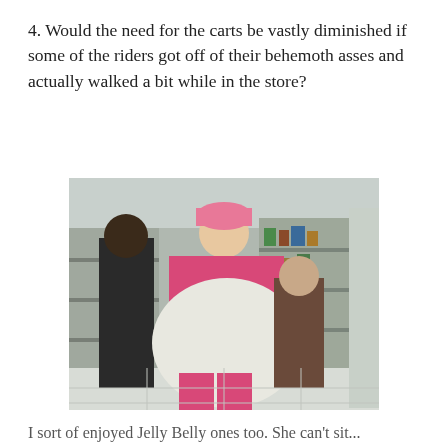4. Would the need for the carts be vastly diminished if some of the riders got off of their behemoth asses and actually walked a bit while in the store?
[Figure (photo): Photo taken inside a retail store (appears to be Walmart) showing a very large person wearing a pink cap, pink top, white skirt-like garment, and pink capri pants standing in an aisle with store shelves visible in the background. Two other people are visible nearby.]
I sort of enjoyed Jelly Belly ones too. She can't sit...